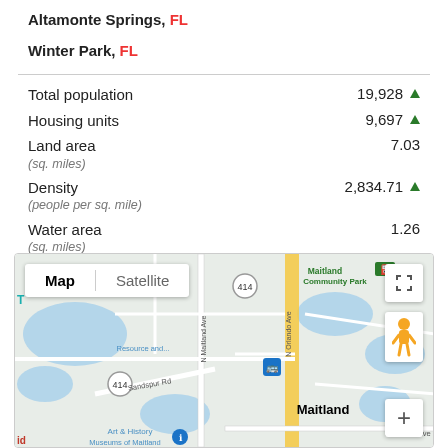Altamonte Springs, FL
Winter Park, FL
Total population 19,928 ▲
Housing units 9,697 ▲
Land area (sq. miles) 7.03
Density (people per sq. mile) 2,834.71 ▲
Water area (sq. miles) 1.26
[Figure (map): Google Map showing Maitland, FL area with streets, lakes, and landmarks including Maitland Community Park, Resource and..., Art & History Museums of Maitland, Sandspur Rd, N Maitland Ave, N Orlando Ave, E Horatio Ave, with route 414 visible. Map toggle shows Map/Satellite options.]